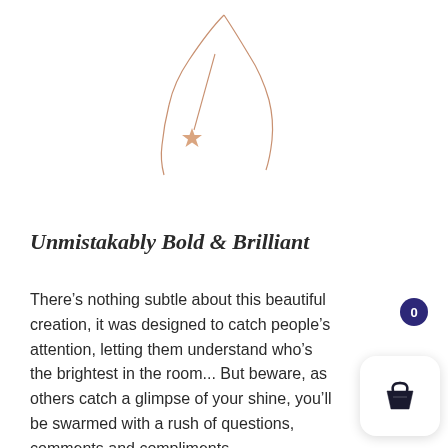[Figure (photo): A delicate rose gold necklace with a crescent moon and star pendant, photographed on a white background.]
Unmistakably Bold & Brilliant
There’s nothing subtle about this beautiful creation, it was designed to catch people’s attention, letting them understand who’s the brightest in the room... But beware, as others catch a glimpse of your shine, you’ll be swarmed with a rush of questions, comments and compliments.
[Figure (illustration): Shopping cart widget with a badge showing 0 items, displayed in a white rounded card with shadow in the bottom-right corner.]